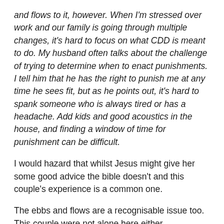and flows to it, however. When I'm stressed over work and our family is going through multiple changes, it's hard to focus on what CDD is meant to do. My husband often talks about the challenge of trying to determine when to enact punishments. I tell him that he has the right to punish me at any time he sees fit, but as he points out, it's hard to spank someone who is always tired or has a headache. Add kids and good acoustics in the house, and finding a window of time for punishment can be difficult.
I would hazard that whilst Jesus might give her some good advice the bible doesn't and this couple's experience is a common one.
The ebbs and flows are a recognisable issue too. This couple were not alone here either.